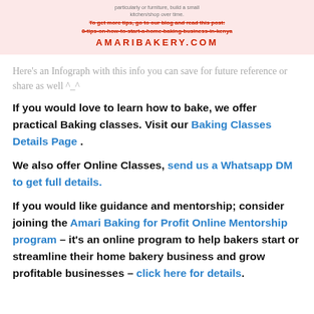[Figure (infographic): Infographic banner with pink background showing blog tip text in red strikethrough and AMARIBAKERY.COM in bold red letters]
Here's an Infograph with this info you can save for future reference or share as well ^_^
If you would love to learn how to bake, we offer practical Baking classes. Visit our Baking Classes Details Page .
We also offer Online Classes, send us a Whatsapp DM to get full details.
If you would like guidance and mentorship; consider joining the Amari Baking for Profit Online Mentorship program – it's an online program to help bakers start or streamline their home bakery business and grow profitable businesses – click here for details.